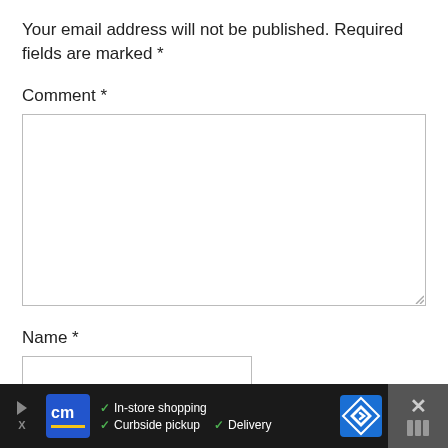Your email address will not be published. Required fields are marked *
Comment *
[Figure (other): Comment text area input box, empty, with resize handle]
Name *
[Figure (other): Name text input box, empty]
[Figure (other): Bottom advertisement bar: cm logo, In-store shopping, Curbside pickup, Delivery, navigation icon, close button]